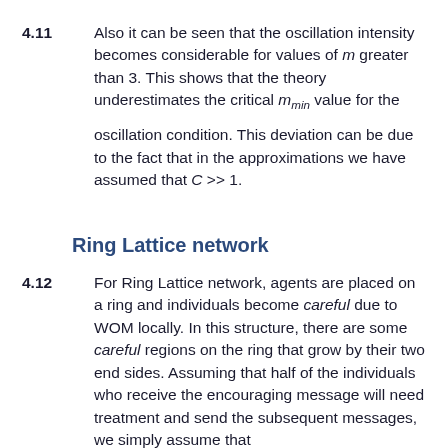4.11   Also it can be seen that the oscillation intensity becomes considerable for values of m greater than 3. This shows that the theory underestimates the critical m_min value for the oscillation condition. This deviation can be due to the fact that in the approximations we have assumed that C >> 1.
Ring Lattice network
4.12   For Ring Lattice network, agents are placed on a ring and individuals become careful due to WOM locally. In this structure, there are some careful regions on the ring that grow by their two end sides. Assuming that half of the individuals who receive the encouraging message will need treatment and send the subsequent messages, we simply assume that